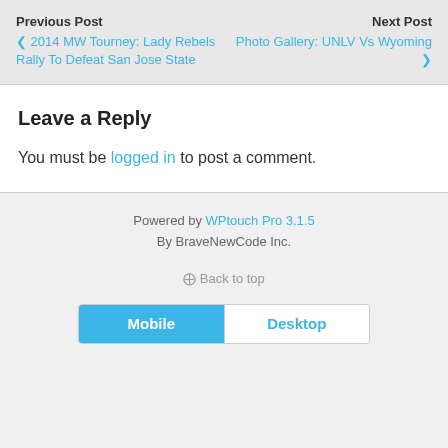Previous Post
‹ 2014 MW Tourney: Lady Rebels Rally To Defeat San Jose State
Next Post
Photo Gallery: UNLV Vs Wyoming ›
Leave a Reply
You must be logged in to post a comment.
Powered by WPtouch Pro 3.1.5
By BraveNewCode Inc.
⌃ Back to top
Mobile   Desktop